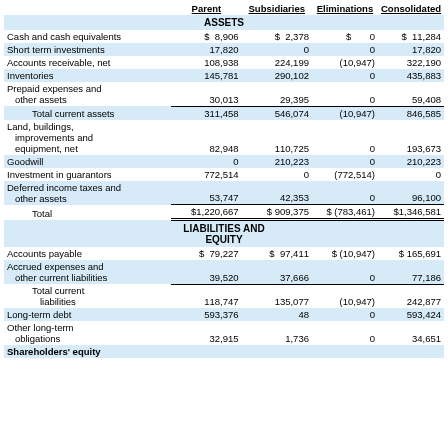|  | Parent | Subsidiaries | Eliminations | Consolidated |
| --- | --- | --- | --- | --- |
| ASSETS |  |  |  |  |
| Cash and cash equivalents | $ 8,906 | $ 2,378 | $ 0 | $ 11,284 |
| Short term investments | 17,820 | 0 | 0 | 17,820 |
| Accounts receivable, net | 108,938 | 224,199 | (10,947) | 322,190 |
| Inventories | 145,781 | 290,102 | 0 | 435,883 |
| Prepaid expenses and other assets | 30,013 | 29,395 | 0 | 59,408 |
| Total current assets | 311,458 | 546,074 | (10,947) | 846,585 |
| Land, buildings, improvements and equipment, net | 82,948 | 110,725 | 0 | 193,673 |
| Goodwill | 0 | 210,223 | 0 | 210,223 |
| Investment in guarantors | 772,514 | 0 | (772,514) | 0 |
| Deferred income taxes and other assets | 53,747 | 42,353 | 0 | 96,100 |
| Total | $1,220,667 | $ 909,375 | $(783,461) | $1,346,581 |
| LIABILITIES AND EQUITY |  |  |  |  |
| Accounts payable | $ 79,227 | $ 97,411 | $ (10,947) | $ 165,691 |
| Accrued expenses and other current liabilities | 39,520 | 37,666 | 0 | 77,186 |
| Total current liabilities | 118,747 | 135,077 | (10,947) | 242,877 |
| Long-term debt | 593,376 | 48 | 0 | 593,424 |
| Other long-term obligations | 32,915 | 1,736 | 0 | 34,651 |
| Shareholders' equity |  |  |  |  |